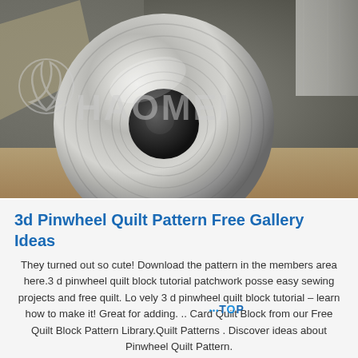[Figure (photo): A large aluminum coil roll photographed on a cardboard floor with a Haomei company watermark logo and text overlaid on the image.]
3d Pinwheel Quilt Pattern Free Gallery Ideas
They turned out so cute! Download the pattern in the members area here.3 d pinwheel quilt block tutorial patchwork posse easy sewing projects and free quilt. Lo vely 3 d pinwheel quilt block tutorial – learn how to make it! Great for adding. .. Card Quilt Block from our Free Quilt Block Pattern Library.Quilt Patterns . Discover ideas about Pinwheel Quilt Pattern.